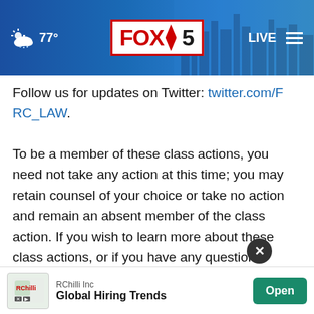FOX 5 | 77° | LIVE
Follow us for updates on Twitter: twitter.com/FRC_LAW.
To be a member of these class actions, you need not take any action at this time; you may retain counsel of your choice or take no action and remain an absent member of the class action. If you wish to learn more about these class actions, or if you have any questions concerning this announcement or your rights or interests with [contact] Frank R[. Cruz, or The Law Offices of Frank R[...]
[Figure (screenshot): RChilli Inc advertisement banner at bottom: 'Global Hiring Trends' with Open button]